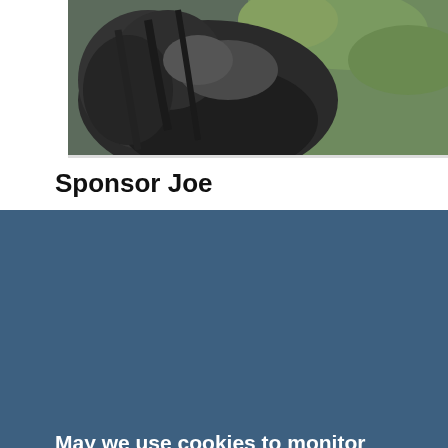[Figure (photo): Close-up photo of a gorilla's back with dark fur, with green foliage visible in the background]
Sponsor Joe
May we use cookies to monitor performance and improve your experience?
These optional cookies are used for collecting visit data.
READ OUR COOKIE POLICY
ACCEPT ALL COOKIES
Set preferences